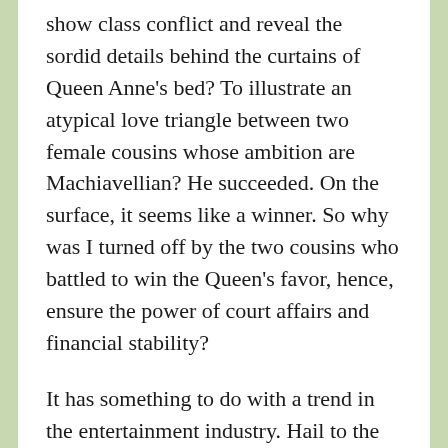show class conflict and reveal the sordid details behind the curtains of Queen Anne's bed? To illustrate an atypical love triangle between two female cousins whose ambition are Machiavellian? He succeeded. On the surface, it seems like a winner. So why was I turned off by the two cousins who battled to win the Queen's favor, hence, ensure the power of court affairs and financial stability?
It has something to do with a trend in the entertainment industry. Hail to the stories of women who are strong and resourceful. Yes. But I feel there's an exaggeration taking place at the expense of men. More films than ever showcase women as corrupt, aggressive, and savage while men are utter idiots. In The Favourite, for example, the scene where the